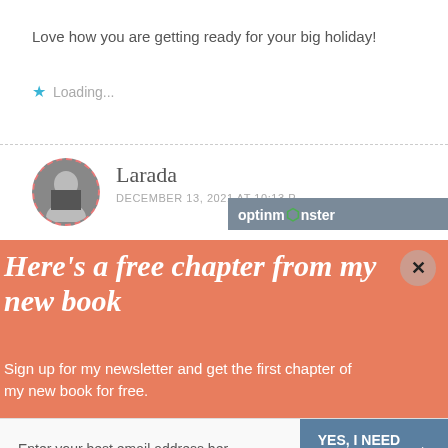Love how you are getting ready for your big holiday!
★ Loading...
Larada
DECEMBER 13, 2021 AT 10:13 P
[Figure (other): OptinMonster branding bar with logo and text 'optinmonster']
Here's a free chapter from my new book
Sign up for my newsletter and get the first chapter of my new book for free.
Enter your best email address her
YES, I NEED THIS →